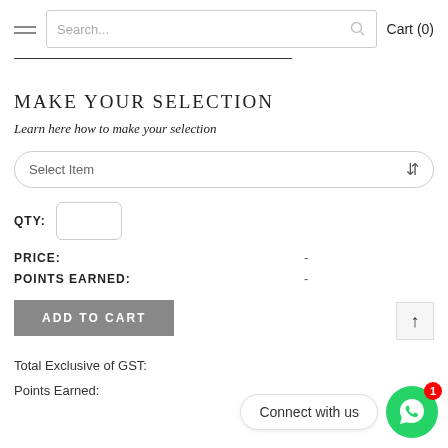Cart (0)
MAKE YOUR SELECTION
Learn here how to make your selection
Select Item
QTY:
PRICE:  -
POINTS EARNED:  -
ADD TO CART
Total Exclusive of GST:
Points Earned:
Connect with us